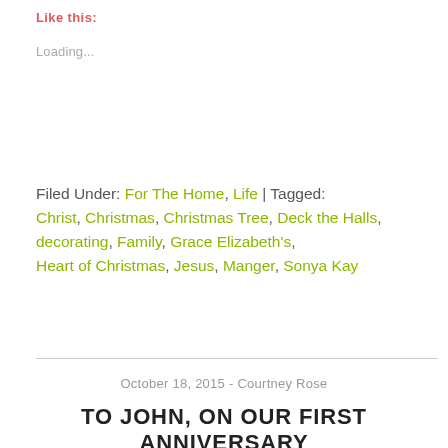Like this:
Loading...
Filed Under: For The Home, Life | Tagged: Christ, Christmas, Christmas Tree, Deck the Halls, decorating, Family, Grace Elizabeth's, Heart of Christmas, Jesus, Manger, Sonya Kay
October 18, 2015 - Courtney Rose
TO JOHN, ON OUR FIRST ANNIVERSARY